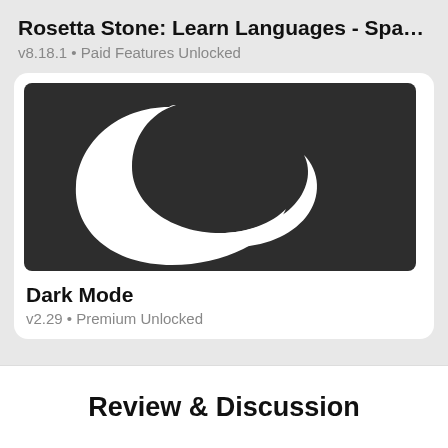Rosetta Stone: Learn Languages - Spanish & …
v8.18.1 • Paid Features Unlocked
[Figure (logo): Dark Mode app icon: white crescent/swoosh shape on dark charcoal background]
Dark Mode
v2.29 • Premium Unlocked
Review & Discussion